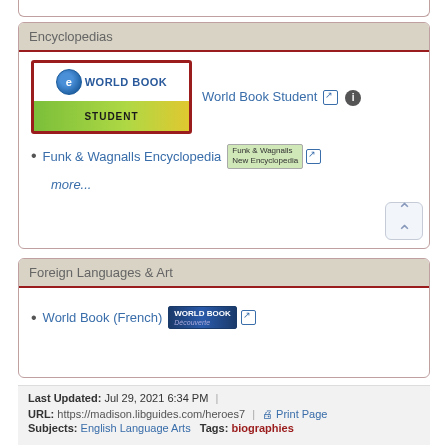Encyclopedias
World Book Student
Funk & Wagnalls Encyclopedia
more...
Foreign Languages & Art
World Book (French)
Last Updated: Jul 29, 2021 6:34 PM | URL: https://madison.libguides.com/heroes7 | Print Page | Login to LibApps | Report a problem. | Subjects: English Language Arts Tags: biographies